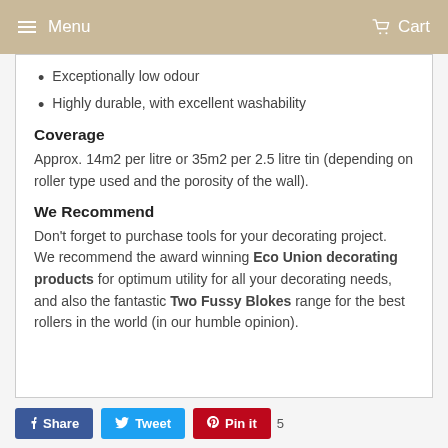Menu   Cart
Exceptionally low odour
Highly durable, with excellent washability
Coverage
Approx. 14m2 per litre or 35m2 per 2.5 litre tin (depending on roller type used and the porosity of the wall).
We Recommend
Don't forget to purchase tools for your decorating project. We recommend the award winning Eco Union decorating products for optimum utility for all your decorating needs, and also the fantastic Two Fussy Blokes range for the best rollers in the world (in our humble opinion).
Share   Tweet   Pin it   5